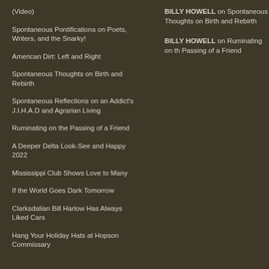(Video)
Spontaneous Pontifications on Poets, Writers, and the Snarky!
American Dirt: Left and Right
Spontaneous Thoughts on Birth and Rebirth
Spontaneous Reflections on an Addict's J.I.H.A.D and Agrarian Living
Ruminating on the Passing of a Friend
A Deeper Delta Look-See and Happy 2022
Mississippi Club Shows Love to Many
If the World Goes Dark Tomorrow
Clarksdalian Bill Harlow Has Always Liked Cars
Hang Your Holiday Hats at Hopson Commissary
BILLY HOWELL on Spontaneous Thoughts on Birth and Rebirth
BILLY HOWELL on Ruminating on the Passing of a Friend